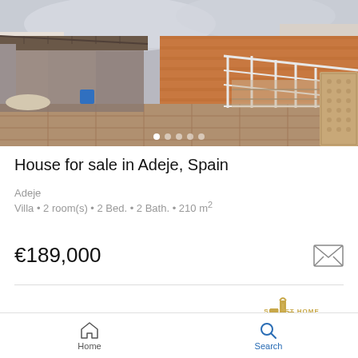[Figure (photo): Rooftop terrace of a house in Adeje, Spain, showing tiled floor, white metal stair railing, terracotta/orange brick wall, and a covered pergola area with furniture]
House for sale in Adeje, Spain
Adeje
Villa • 2 room(s) • 2 Bed. • 2 Bath. • 210 m²
€189,000
[Figure (logo): Sunset Home International Real Estate logo — gold building icon with company name]
[Figure (photo): Partial view of a blue sky photo at bottom of listing card]